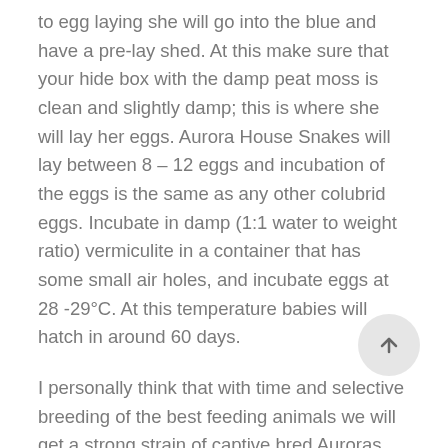to egg laying she will go into the blue and have a pre-lay shed. At this make sure that your hide box with the damp peat moss is clean and slightly damp; this is where she will lay her eggs. Aurora House Snakes will lay between 8 – 12 eggs and incubation of the eggs is the same as any other colubrid eggs. Incubate in damp (1:1 water to weight ratio) vermiculite in a container that has some small air holes, and incubate eggs at 28 -29°C. At this temperature babies will hatch in around 60 days.
I personally think that with time and selective breeding of the best feeding animals we will get a strong strain of captive bred Auroras that will do well in captivity and feed on rodents with little effort. These snakes are a real gem when it comes to South African snakes and anyone planning to keep them must be serious about their correct husbandry and make sure